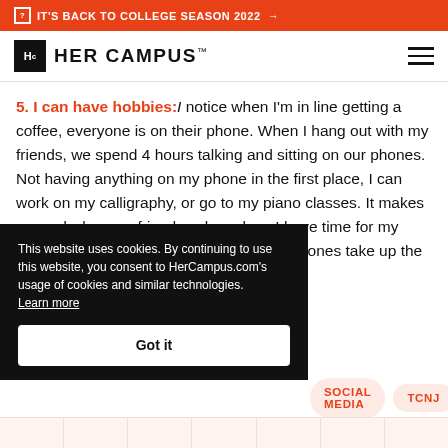IT'S BACK TO COLLEGE SEASON 2022 →
[Figure (logo): Her Campus logo with Hc box and 'HER CAMPUS' wordmark]
5. I can have hobbies: I notice when I'm in line getting a coffee, everyone is on their phone. When I hang out with my friends, we spend 4 hours talking and sitting on our phones. Not having anything on my phone in the first place, I can work on my calligraphy, or go to my piano classes. It makes me sad when my friends ask me how I have time for my hobbies, when in reality it's just that our phones take up the bulk of our days.
Photo Source
This website uses cookies. By continuing to use this website, you consent to HerCampus.com's usage of cookies and similar technologies. Learn more Got it
SOCIAL MEDIA   TCNJ